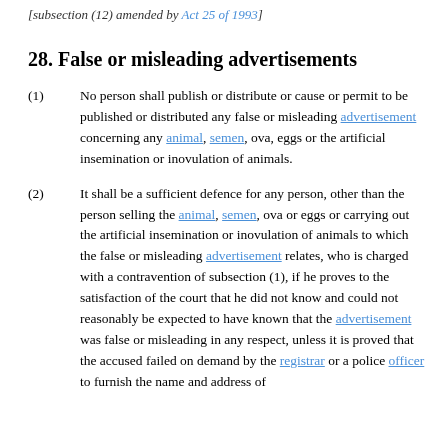[subsection (12) amended by Act 25 of 1993]
28. False or misleading advertisements
(1) No person shall publish or distribute or cause or permit to be published or distributed any false or misleading advertisement concerning any animal, semen, ova, eggs or the artificial insemination or inovulation of animals.
(2) It shall be a sufficient defence for any person, other than the person selling the animal, semen, ova or eggs or carrying out the artificial insemination or inovulation of animals to which the false or misleading advertisement relates, who is charged with a contravention of subsection (1), if he proves to the satisfaction of the court that he did not know and could not reasonably be expected to have known that the advertisement was false or misleading in any respect, unless it is proved that the accused failed on demand by the registrar or a police officer to furnish the name and address of